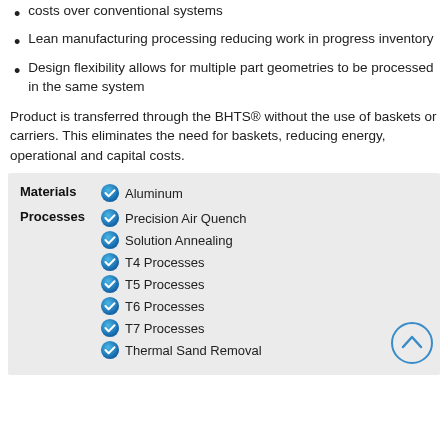costs over conventional systems
Lean manufacturing processing reducing work in progress inventory
Design flexibility allows for multiple part geometries to be processed in the same system
Product is transferred through the BHTS® without the use of baskets or carriers. This eliminates the need for baskets, reducing energy, operational and capital costs.
|  |  |
| --- | --- |
| Materials | Aluminum |
| Processes | Precision Air Quench |
|  | Solution Annealing |
|  | T4 Processes |
|  | T5 Processes |
|  | T6 Processes |
|  | T7 Processes |
|  | Thermal Sand Removal |